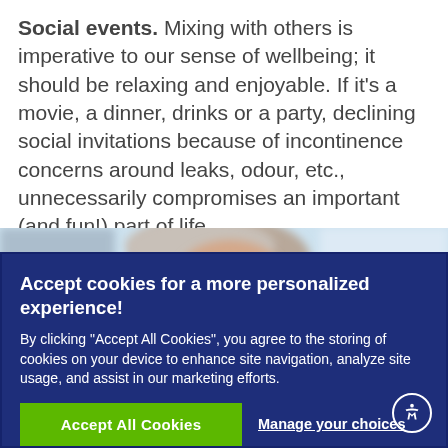Social events. Mixing with others is imperative to our sense of wellbeing; it should be relaxing and enjoyable. If it's a movie, a dinner, drinks or a party, declining social invitations because of incontinence concerns around leaks, odour, etc., unnecessarily compromises an important (and fun!) part of life.
[Figure (photo): Partial view of an elderly person's face/head, blurred background]
Accept cookies for a more personalized experience! By clicking "Accept All Cookies", you agree to the storing of cookies on your device to enhance site navigation, analyze site usage, and assist in our marketing efforts.